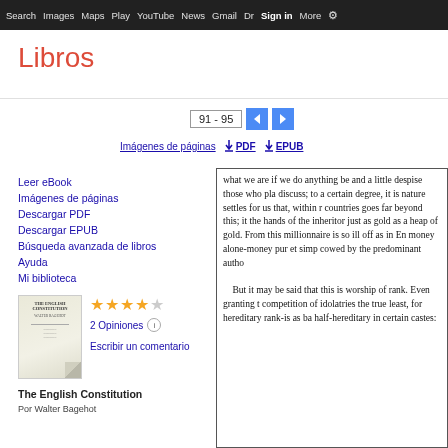Search  Images  Maps  Play  YouTube  News  Gmail  Drive  More  Sign in  Settings
Libros
91 - 95
Imágenes de páginas   PDF   EPUB
Leer eBook
Imágenes de páginas
Descargar PDF
Descargar EPUB
Búsqueda avanzada de libros
Ayuda
Mi biblioteca
[Figure (illustration): Book cover thumbnail for The English Constitution by Walter Bagehot]
2 Opiniones
Escribir un comentario
The English Constitution
Por Walter Bagehot
what we are if we do anything be and a little despise those who pla discuss; to a certain degree, it is nature settles for us that, within r countries goes far beyond this; it the hands of the inheritor just as gold as a heap of gold. From this millionnaire is so ill off as in En money alone-money pur et simp cowed by the predominant autho

    But it may be said that this is worship of rank. Even granting t competition of idolatries the true least, for hereditary rank-is as ba half-hereditary in certain castes: